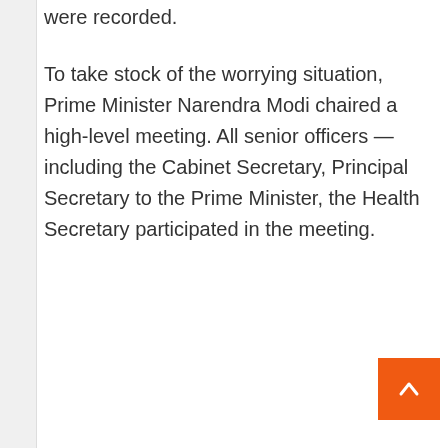were recorded.
To take stock of the worrying situation, Prime Minister Narendra Modi chaired a high-level meeting. All senior officers — including the Cabinet Secretary, Principal Secretary to the Prime Minister, the Health Secretary participated in the meeting.